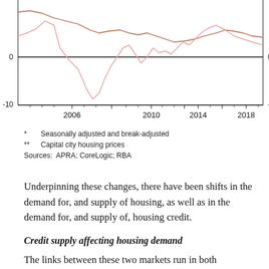[Figure (continuous-plot): Line chart showing two time series (seasonally adjusted housing credit growth and capital city housing prices) from approximately 2004 to 2019. The y-axis ranges from -10 to above 0, with a zero line marked. The x-axis shows years: 2006, 2010, 2014, 2018. One line (darker/brownish) stays mostly positive and above zero, the other (lighter pink) is more volatile with deep dips below zero reaching around -10. Only the bottom portion of the chart is visible.]
* Seasonally adjusted and break-adjusted
** Capital city housing prices
Sources: APRA; CoreLogic; RBA
Underpinning these changes, there have been shifts in the demand for, and supply of housing, as well as in the demand for, and supply of, housing credit.
Credit supply affecting housing demand
The links between these two markets run in both